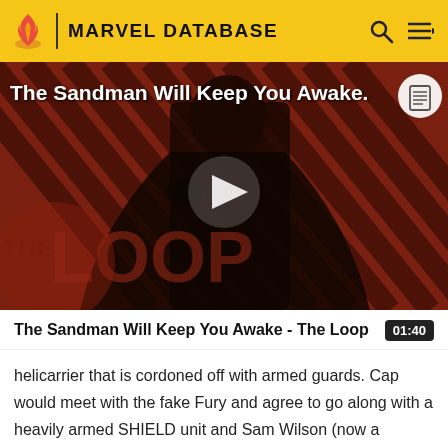MARVEL DATABASE
[Figure (screenshot): Video thumbnail showing a figure in black costume against a red and black diagonal striped background with 'THE LOOP' watermark, a play button in the center, and the title 'The Sandman Will Keep You Awake.' overlaid at the top left.]
The Sandman Will Keep You Awake - The Loop  01:40
helicarrier that is cordoned off with armed guards. Cap would meet with the fake Fury and agree to go along with a heavily armed SHIELD unit and Sam Wilson (now a